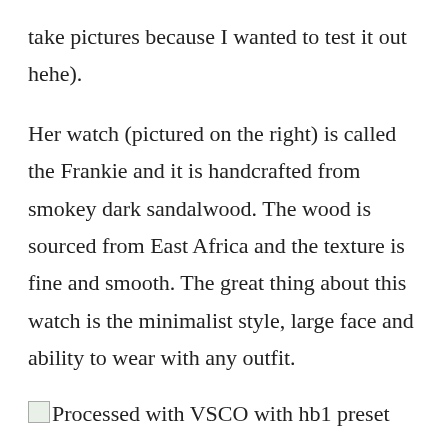take pictures because I wanted to test it out hehe).
Her watch (pictured on the right) is called the Frankie and it is handcrafted from smokey dark sandalwood. The wood is sourced from East Africa and the texture is fine and smooth. The great thing about this watch is the minimalist style, large face and ability to wear with any outfit.
[Figure (photo): Processed with VSCO with hb1 preset — broken/placeholder image icon followed by caption text]
Another great thing about their watches is the ability to engrave the backplate. I got my sister's engraved but we